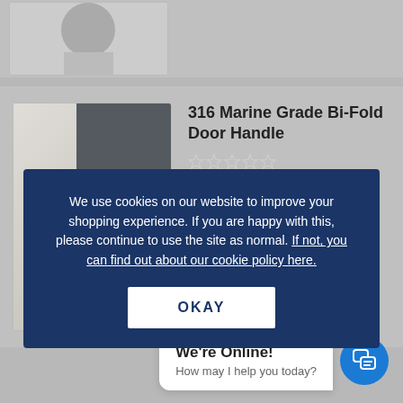[Figure (screenshot): Top of a product listing page showing a partial product thumbnail card]
316 Marine Grade Bi-Fold Door Handle
£28.95 Inc VAT
We use cookies on our website to improve your shopping experience. If you are happy with this, please continue to use the site as normal. If not, you can find out about our cookie policy here.
OKAY
£18.99 Inc VAT
£15.82 Ex VAT
We're Online!
How may I help you today?